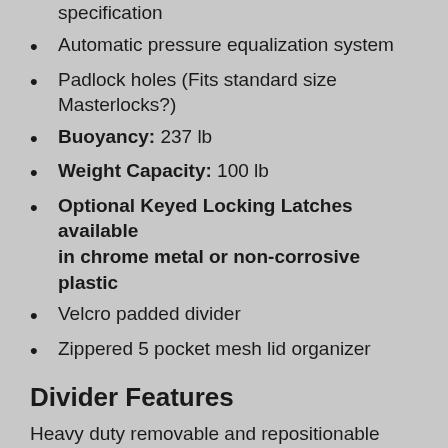specification
Automatic pressure equalization system
Padlock holes (Fits standard size Masterlocks?)
Buoyancy: 237 lb
Weight Capacity: 100 lb
Optional Keyed Locking Latches available in chrome metal or non-corrosive plastic
Velcro padded divider
Zippered 5 pocket mesh lid organizer
Divider Features
Heavy duty removable and repositionable